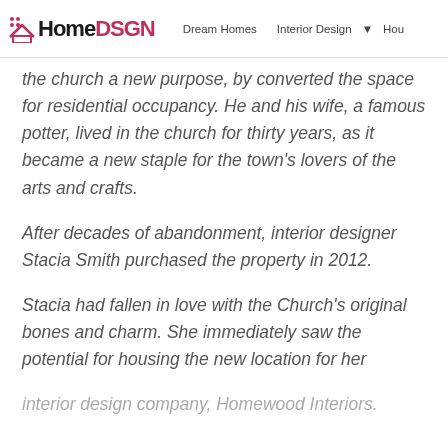HomeDSGN | Dream Homes | Interior Design
the church a new purpose, by converted the space for residential occupancy. He and his wife, a famous potter, lived in the church for thirty years, as it became a new staple for the town's lovers of the arts and crafts.
After decades of abandonment, interior designer Stacia Smith purchased the property in 2012.
Stacia had fallen in love with the Church's original bones and charm. She immediately saw the potential for housing the new location for her interior design company, Homewood Interiors.